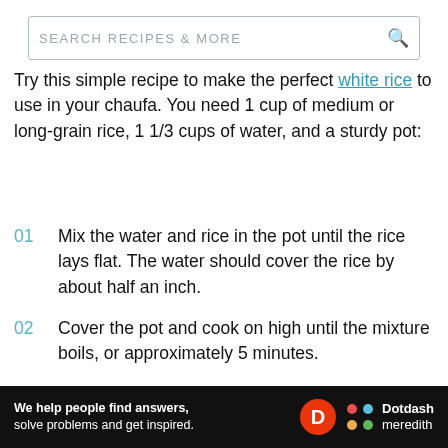SEARCH RECIPES & MORE
Try this simple recipe to make the perfect white rice to use in your chaufa. You need 1 cup of medium or long-grain rice, 1 1/3 cups of water, and a sturdy pot:
01  Mix the water and rice in the pot until the rice lays flat. The water should cover the rice by about half an inch.
02  Cover the pot and cook on high until the mixture boils, or approximately 5 minutes.
03  Lower the heat to medium and cook for another 5 minutes without taking the
[Figure (other): Dotdash Meredith advertisement banner: 'We help people find answers, solve problems and get inspired.']